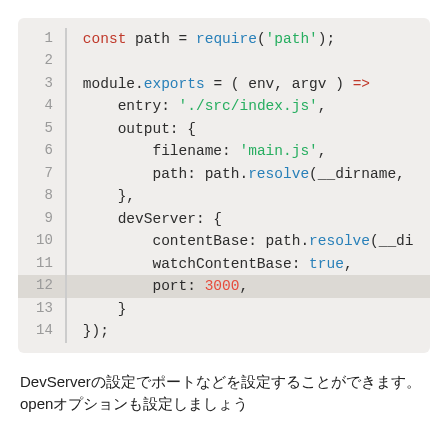[Figure (screenshot): Code editor screenshot showing a webpack config file with 14 lines of JavaScript. Syntax highlighting with colors for keywords (red), properties (blue), strings (green), and numbers (red). Line 12 is highlighted with a darker background. Code includes const path = require('path'), module.exports arrow function with entry, output (filename and path), and devServer (contentBase, watchContentBase, port: 3000) settings.]
DevServerの設定でポートなどを設定することができます。openオプションも設定しましょう